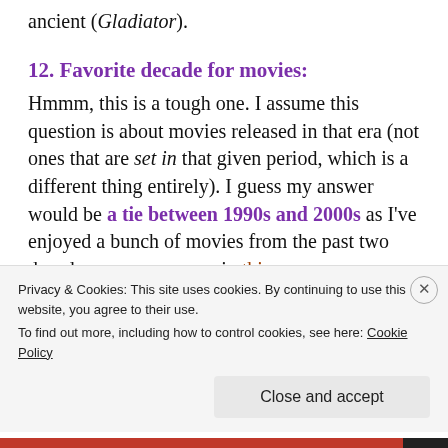ancient (Gladiator).
12. Favorite decade for movies:
Hmmm, this is a tough one. I assume this question is about movies released in that era (not ones that are set in that given period, which is a different thing entirely). I guess my answer would be a tie between 1990s and 2000s as I've enjoyed a bunch of movies from the past two decades, as you can see in this
Privacy & Cookies: This site uses cookies. By continuing to use this website, you agree to their use.
To find out more, including how to control cookies, see here: Cookie Policy
Close and accept